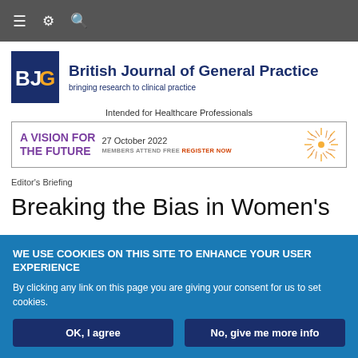Navigation bar with menu, settings, and search icons
[Figure (logo): BJGP logo - blue square with BJ in white and GP in gold text]
British Journal of General Practice
bringing research to clinical practice
Intended for Healthcare Professionals
[Figure (infographic): Advertisement banner: A VISION FOR THE FUTURE - 27 October 2022 - MEMBERS ATTEND FREE REGISTER NOW with decorative sunburst logo]
Editor's Briefing
Breaking the Bias in Women's
WE USE COOKIES ON THIS SITE TO ENHANCE YOUR USER EXPERIENCE
By clicking any link on this page you are giving your consent for us to set cookies.
OK, I agree
No, give me more info